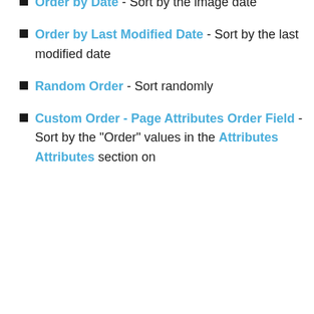Order by Date - Sort by the image date
Order by Last Modified Date - Sort by the last modified date
Random Order - Sort randomly
Custom Order - Page Attributes Order Field - Sort by the "Order" values in the Attributes Attributes section on